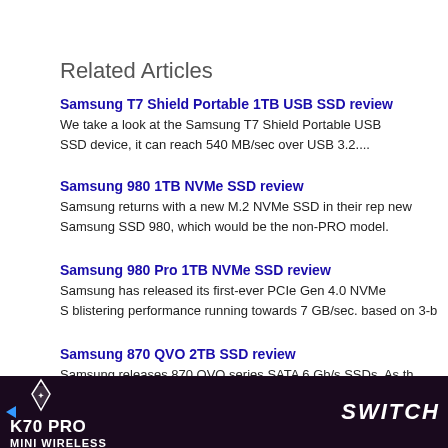Related Articles
Samsung T7 Shield Portable 1TB USB SSD review
We take a look at the Samsung T7 Shield Portable USB SSD device, it can reach 540 MB/sec over USB 3.2....
Samsung 980 1TB NVMe SSD review
Samsung returns with a new M.2 NVMe SSD in their rep new Samsung SSD 980, which would be the non-PRO model.
Samsung 980 Pro 1TB NVMe SSD review
Samsung has released its first-ever PCIe Gen 4.0 NVMe S blistering performance running towards 7 GB/sec. based on 3-b
Samsung 870 QVO 2TB SSD review
Samsung releases 870 QVO series SATA 6 Gb/s SSDs. As th based NAND. Don't worry, we'll explain it all but the bottom line
[Figure (photo): Corsair K70 PRO MINI WIRELESS advertisement banner with Switch text on the right]